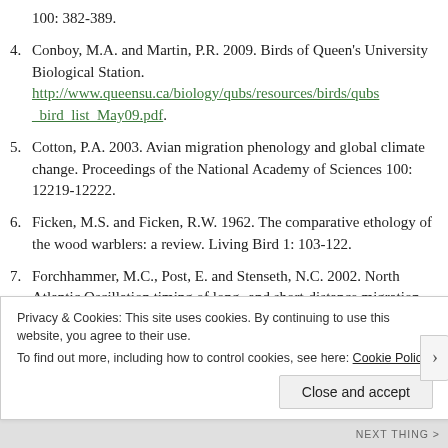100: 382-389.
4. Conboy, M.A. and Martin, P.R. 2009. Birds of Queen's University Biological Station. http://www.queensu.ca/biology/qubs/resources/birds/qubs_bird_list_May09.pdf.
5. Cotton, P.A. 2003. Avian migration phenology and global climate change. Proceedings of the National Academy of Sciences 100: 12219-12222.
6. Ficken, M.S. and Ficken, R.W. 1962. The comparative ethology of the wood warblers: a review. Living Bird 1: 103-122.
7. Forchhammer, M.C., Post, E. and Stenseth, N.C. 2002. North Atlantic Oscillation timing of long- and short-distance migration. Journal of Animal Ecology 71: 1002-1014.
Privacy & Cookies: This site uses cookies. By continuing to use this website, you agree to their use. To find out more, including how to control cookies, see here: Cookie Policy
Close and accept